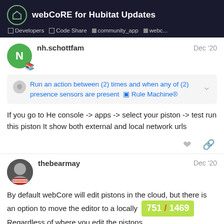webCoRE for Hubitat Updates | Developers | Code Share | community_app | webc...
nh.schottfam
Dec '20
Run an action between (2) times and when any of (2) presence sensors are present 🔲 Rule Machine®
If you go to He console -> apps -> select your piston -> test run this piston It show both external and local network urls
thebearmay
Dec '20
By default webCore will edit pistons in the cloud, but there is an option to move the editor to a locally Regardless of where you edit the pistons